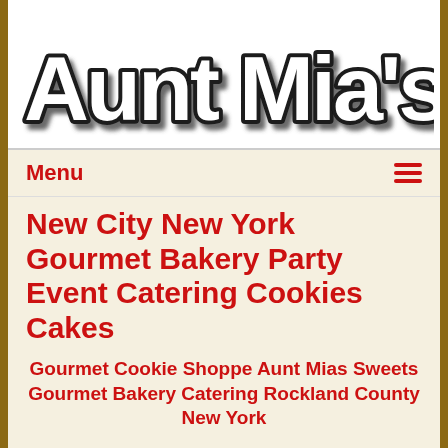[Figure (logo): Aunt Mia's bakery logo in large bold white text with thick black outline and drop shadow]
Menu ≡
New City New York Gourmet Bakery Party Event Catering Cookies Cakes
Gourmet Cookie Shoppe Aunt Mias Sweets Gourmet Bakery Catering Rockland County New York
Do you live or work in New City, Rockland